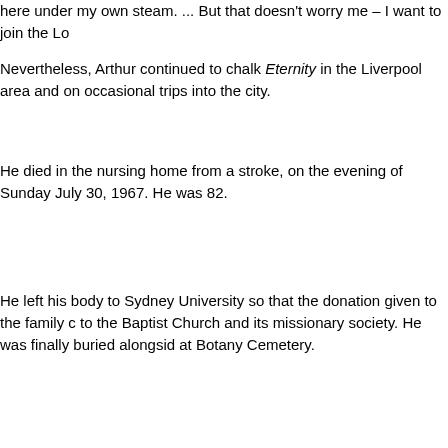here under my own steam. ... But that doesn't worry me – I want to join the Lo
Nevertheless, Arthur continued to chalk Eternity in the Liverpool area and on occasional trips into the city.
He died in the nursing home from a stroke, on the evening of Sunday July 30, 1967. He was 82.
He left his body to Sydney University so that the donation given to the family c to the Baptist Church and its missionary society. He was finally buried alongsid at Botany Cemetery.